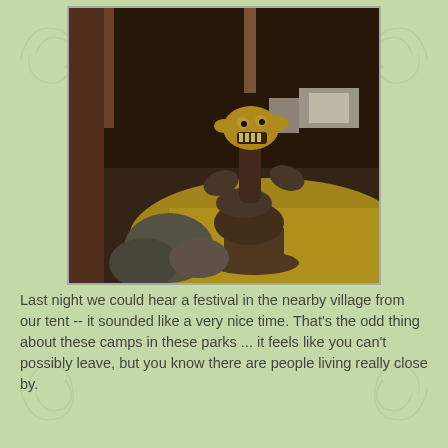[Figure (photo): A wooden carved totem-style figure or statue with a grinning face, located in what appears to be an indoor restaurant or venue with yellow floors and dark wooden decor. Rocks are visible at the base of the figure.]
Last night we could hear a festival in the nearby village from our tent -- it sounded like a very nice time. That's the odd thing about these camps in these parks ... it feels like you can't possibly leave, but you know there are people living really close by.